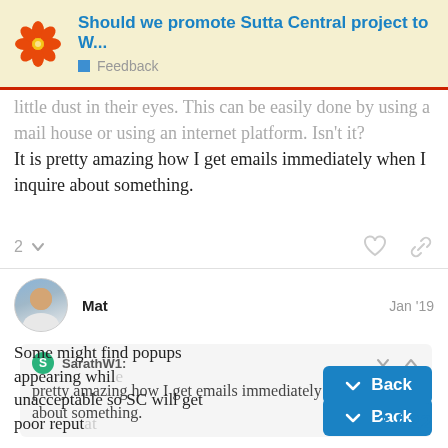Should we promote Sutta Central project to W... | Feedback
little dust in their eyes. This can be easily done by using a mail house or using an internet platform. Isn't it?
It is pretty amazing how I get emails immediately when I inquire about something.
2
Mat  Jan '19
SarathW1:
pretty amazing how I get emails immediately when I inquire about something.
Some might find popups appearing while unacceptable so SC will get poor reput...
3 / 22